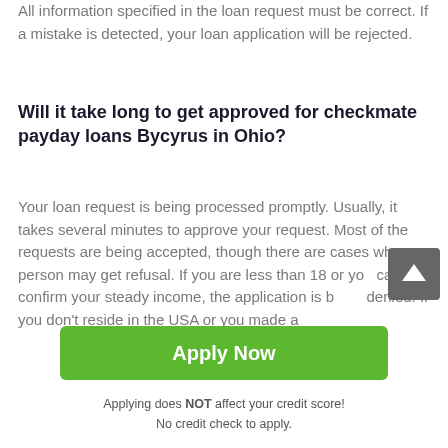All information specified in the loan request must be correct. If a mistake is detected, your loan application will be rejected.
Will it take long to get approved for checkmate payday loans Bycyrus in Ohio?
Your loan request is being processed promptly. Usually, it takes several minutes to approve your request. Most of the requests are being accepted, though there are cases when a person may get refusal. If you are less than 18 or you can't confirm your steady income, the application is being denied. If you don't reside in the USA or you made a
[Figure (other): Scroll-to-top button with upward arrow on dark grey background]
Apply Now
Applying does NOT affect your credit score!
No credit check to apply.